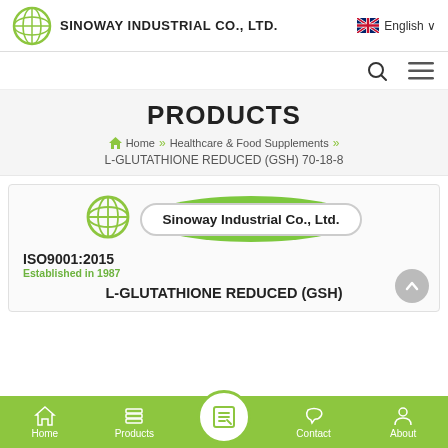SINOWAY INDUSTRIAL CO., LTD.  English
PRODUCTS
Home » Healthcare & Food Supplements » L-GLUTATHIONE REDUCED (GSH) 70-18-8
[Figure (logo): Sinoway Industrial Co., Ltd. product card with company logo, ISO9001:2015 certification, Established in 1987, and product name L-GLUTATHIONE REDUCED (GSH)]
Home  Products  Contact  About